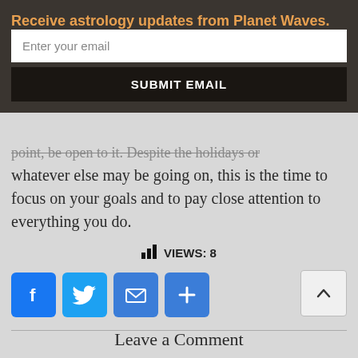Receive astrology updates from Planet Waves.
Enter your email
SUBMIT EMAIL
point, be open to it. Despite the holidays or whatever else may be going on, this is the time to focus on your goals and to pay close attention to everything you do.
VIEWS: 8
[Figure (infographic): Social share buttons: Facebook, Twitter, Email, and a plus/more button]
Leave a Comment